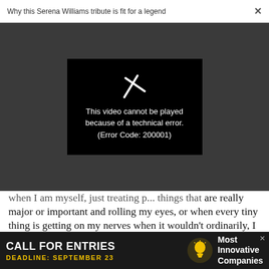Why this Serena Williams tribute is fit for a legend
[Figure (screenshot): Video player showing error message: 'This video cannot be played because of a technical error. (Error Code: 200001)']
when I am myself, just treating p... things that are really major or important and rolling my eyes, or when every tiny thing is getting on my nerves when it wouldn't ordinarily, I know it's time for a break–that it's me, not the internet. It's important to close my laptop and put my phones on 'do not disturb' in a
[Figure (infographic): Advertisement banner: CALL FOR ENTRIES, DEADLINE: SEPTEMBER 23, Most Innovative Companies]